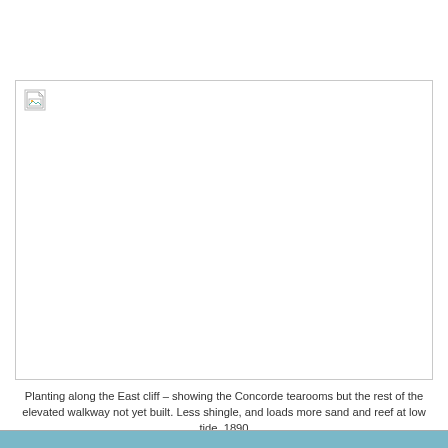[Figure (photo): A large image placeholder showing a broken image icon in the top-left corner. The image is framed by a light gray border and appears unloaded. The photo is described as showing planting along the East cliff with the Concorde tearooms visible but the elevated walkway not yet built, less shingle and more sand and reef at low tide, from 1890.]
Planting along the East cliff – showing the Concorde tearooms but the rest of the elevated walkway not yet built. Less shingle, and loads more sand and reef at low tide. 1890
[Figure (photo): Bottom strip of a photograph visible at the bottom of the page, showing a teal/blue-gray coastal scene.]